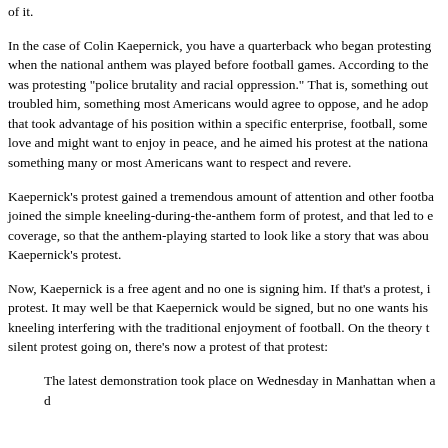of it.
In the case of Colin Kaepernick, you have a quarterback who began protesting when the national anthem was played before football games. According to the was protesting "police brutality and racial oppression." That is, something out troubled him, something most Americans would agree to oppose, and he adop that took advantage of his position within a specific enterprise, football, some love and might want to enjoy in peace, and he aimed his protest at the nationa something many or most Americans want to respect and revere.
Kaepernick's protest gained a tremendous amount of attention and other footba joined the simple kneeling-during-the-anthem form of protest, and that led to e coverage, so that the anthem-playing started to look like a story that was abou Kaepernick's protest.
Now, Kaepernick is a free agent and no one is signing him. If that's a protest, i protest. It may well be that Kaepernick would be signed, but no one wants his kneeling interfering with the traditional enjoyment of football. On the theory t silent protest going on, there's now a protest of that protest:
The latest demonstration took place on Wednesday in Manhattan when a d